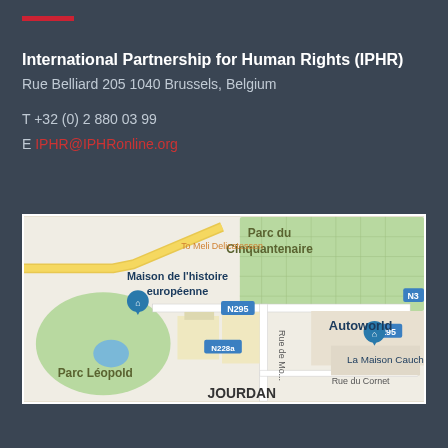International Partnership for Human Rights (IPHR)
Rue Belliard 205 1040 Brussels, Belgium
T +32 (0) 2 880 03 99
E IPHR@IPHRonline.org
[Figure (map): Google Maps showing area around Rue Belliard 205, Brussels: Parc du Cinquantenaire, Maison de l'histoire européenne, Parc Léopold, Autoworld, La Maison Cauchie, JOURDAN area, roads N295, N228a, N3, Rue de Mo..., Rue du Cornet]